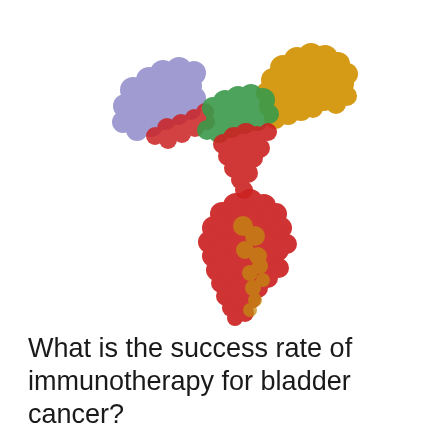[Figure (illustration): 3D molecular model of an antibody (immunoglobulin Y-shaped protein) rendered as a space-filling model with colored domains: purple/lavender on upper left arm, gold/yellow on upper right arm, green at the junction/hinge region, and red with gold on the lower Fc region stem.]
What is the success rate of immunotherapy for bladder cancer?